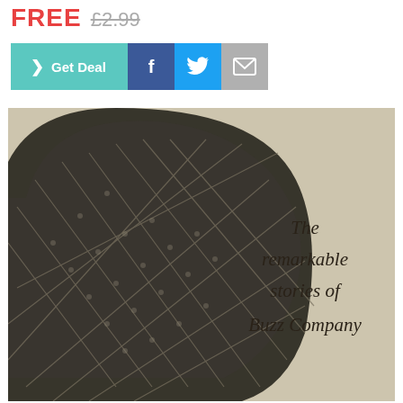FREE £2.99
[Figure (screenshot): Row of buttons: teal 'Get Deal' button with right arrow, Facebook share button (dark blue, 'f'), Twitter share button (blue, bird icon), Email share button (grey, envelope icon)]
[Figure (photo): Book cover photo showing a close-up of a WWII military helmet with netting, against a beige/cream textured background. Italic serif text on the right reads: 'The remarkable stories of Buzz Company']